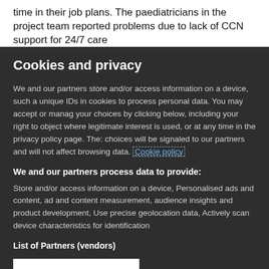time in their job plans. The paediatricians in the project team reported problems due to lack of CCN support for 24/7 care
Cookies and privacy
We and our partners store and/or access information on a device, such as unique IDs in cookies to process personal data. You may accept or manage your choices by clicking below, including your right to object where legitimate interest is used, or at any time in the privacy policy page. These choices will be signaled to our partners and will not affect browsing data. Cookie policy
We and our partners process data to provide:
Store and/or access information on a device, Personalised ads and content, ad and content measurement, audience insights and product development, Use precise geolocation data, Actively scan device characteristics for identification
List of Partners (vendors)
I Accept